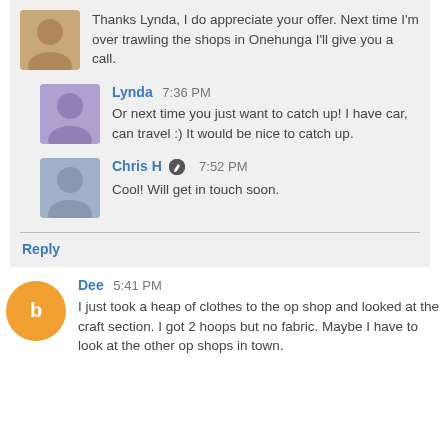Thanks Lynda, I do appreciate your offer. Next time I'm over trawling the shops in Onehunga I'll give you a call.
Lynda 7:36 PM
Or next time you just want to catch up! I have car, can travel :) It would be nice to catch up.
Chris H 7:52 PM
Cool! Will get in touch soon.
Reply
Dee 5:41 PM
I just took a heap of clothes to the op shop and looked at the craft section. I got 2 hoops but no fabric. Maybe I have to look at the other op shops in town.